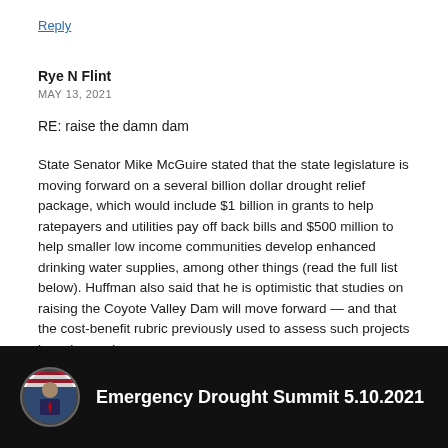Reply
Rye N Flint
MAY 13, 2021
RE: raise the damn dam
State Senator Mike McGuire stated that the state legislature is moving forward on a several billion dollar drought relief package, which would include $1 billion in grants to help ratepayers and utilities pay off back bills and $500 million to help smaller low income communities develop enhanced drinking water supplies, among other things (read the full list below). Huffman also said that he is optimistic that studies on raising the Coyote Valley Dam will move forward — and that the cost-benefit rubric previously used to assess such projects has changed.
[Figure (screenshot): Video thumbnail showing a man in a suit with an American flag, with text 'Emergency Drought Summit 5.10.2021' on a black background]